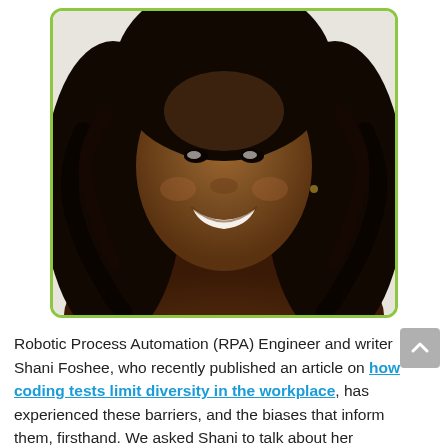[Figure (photo): Headshot photo of Shani Foshee, a smiling Black woman with long dark curly hair, framed with a green rounded-rectangle border.]
Robotic Process Automation (RPA) Engineer and writer Shani Foshee, who recently published an article on how coding tests limit diversity in the workplace, has experienced these barriers, and the biases that inform them, firsthand. We asked Shani to talk about her background, what kind of